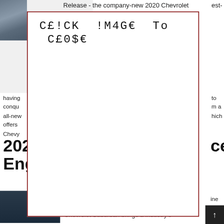[Figure (screenshot): A webpage screenshot showing a partially obscured article about the 2020 Chevrolet Suburban with a modal overlay reading 'CE!CK !M4GE TO CE0$E' (CLICK IMAGE TO CLOSE). The page has car images on the left side, body text partially hidden behind the modal, a bold section header about 2020 Chevrolet performance and engine, and a bottom caption about Chevrolet Suburban. A scroll-to-top button appears in the bottom right.]